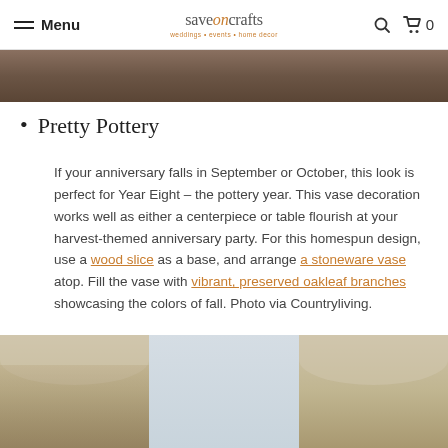Menu | saveoncrafts | Search | Cart 0
[Figure (photo): Top portion of a photo showing dark brown/earthy tones, likely foliage or natural decor]
Pretty Pottery
If your anniversary falls in September or October, this look is perfect for Year Eight – the pottery year. This vase decoration works well as either a centerpiece or table flourish at your harvest-themed anniversary party. For this homespun design, use a wood slice as a base, and arrange a stoneware vase atop. Fill the vase with vibrant, preserved oakleaf branches showcasing the colors of fall. Photo via Countryliving.
[Figure (photo): Bottom portion showing elegant window treatments with cream/ivory colored swag curtains and decorative hardware, across three windows]